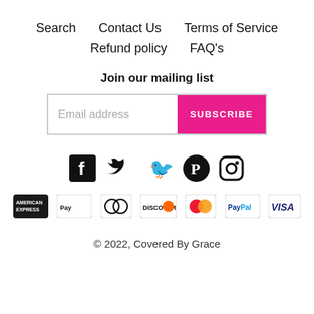Search   Contact Us   Terms of Service   Refund policy   FAQ's
Join our mailing list
[Figure (other): Email subscription form with 'Email address' input and pink 'SUBSCRIBE' button]
[Figure (other): Social media icons: Facebook, Twitter, Pinterest, Instagram]
[Figure (other): Payment method icons: American Express, Apple Pay, Diners Club, Discover, Mastercard, PayPal, Visa]
© 2022, Covered By Grace